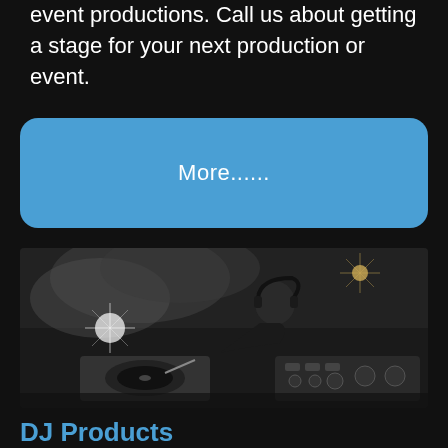event productions. Call us about getting a stage for your next production or event.
More......
[Figure (photo): Black and white photo of a DJ wearing headphones, leaning over turntables and DJ mixer equipment, with dramatic stage lighting and smoke effects in the background]
DJ Products